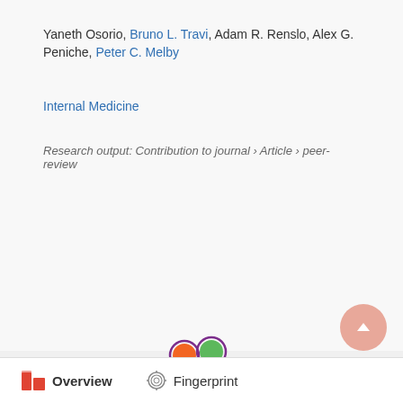Yaneth Osorio, Bruno L. Travi, Adam R. Renslo, Alex G. Peniche, Peter C. Melby
Internal Medicine
Research output: Contribution to journal › Article › peer-review
[Figure (other): Scopus citation count badge showing 56 Scopus citations]
[Figure (logo): Elsevier Fingerprint Engine logo - purple abstract flower/splash shape with orange, green, and purple circles]
Overview   Fingerprint